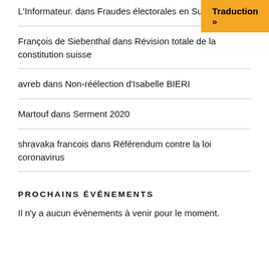L'Informateur. dans Fraudes électorales en Suisse
[Figure (other): Orange button labeled 'Traduction »']
François de Siebenthal dans Révision totale de la constitution suisse
avreb dans Non-réélection d'Isabelle BIERI
Martouf dans Serment 2020
shravaka francois dans Référendum contre la loi coronavirus
PROCHAINS ÉVÉNEMENTS
Il n'y a aucun évènements à venir pour le moment.